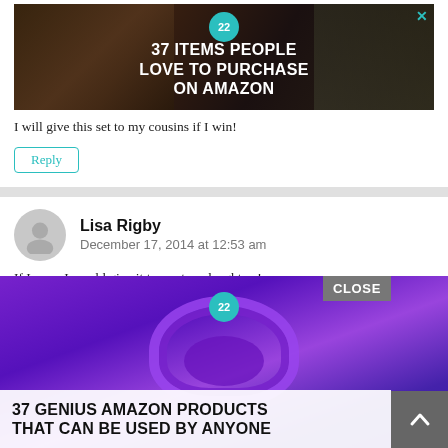[Figure (photo): Ad banner showing kitchen knives on dark background with text '37 ITEMS PEOPLE LOVE TO PURCHASE ON AMAZON' and a teal badge with '22'. Has an X close button in top right.]
I will give this set to my cousins if I win!
Reply
Lisa Rigby
December 17, 2014 at 12:53 am
If I won, I would give it to my two daughters!
Reply
[Figure (photo): Ad overlay showing purple headphones on wooden surface with text '37 GENIUS AMAZON PRODUCTS THAT CAN BE USED BY ANYONE'. Has a CLOSE button in gray at top right and a teal badge with '22'. A gray scroll-to-top arrow button is at bottom right.]